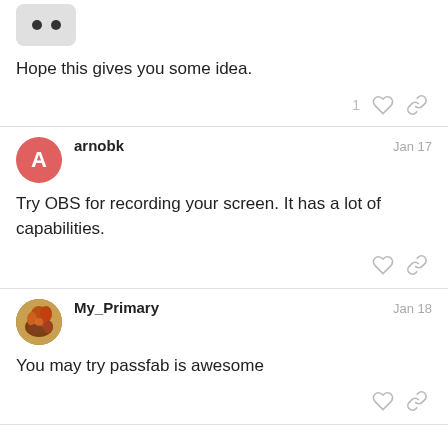Hope this gives you some idea.
arnobk  Jan 17
Try OBS for recording your screen. It has a lot of capabilities.
My_Primary  Jan 18
You may try passfab is awesome